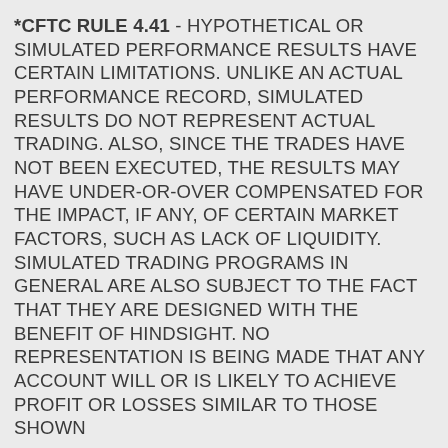*CFTC RULE 4.41 - HYPOTHETICAL OR SIMULATED PERFORMANCE RESULTS HAVE CERTAIN LIMITATIONS. UNLIKE AN ACTUAL PERFORMANCE RECORD, SIMULATED RESULTS DO NOT REPRESENT ACTUAL TRADING. ALSO, SINCE THE TRADES HAVE NOT BEEN EXECUTED, THE RESULTS MAY HAVE UNDER-OR-OVER COMPENSATED FOR THE IMPACT, IF ANY, OF CERTAIN MARKET FACTORS, SUCH AS LACK OF LIQUIDITY. SIMULATED TRADING PROGRAMS IN GENERAL ARE ALSO SUBJECT TO THE FACT THAT THEY ARE DESIGNED WITH THE BENEFIT OF HINDSIGHT. NO REPRESENTATION IS BEING MADE THAT ANY ACCOUNT WILL OR IS LIKELY TO ACHIEVE PROFIT OR LOSSES SIMILAR TO THOSE SHOWN